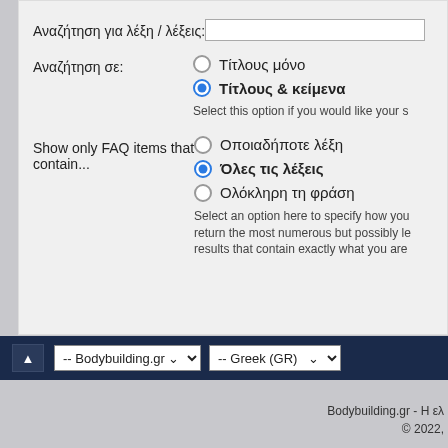Αναζήτηση για λέξη / λέξεις:
Αναζήτηση σε:
Τίτλους μόνο
Τίτλους & κείμενα
Select this option if you would like your s...
Show only FAQ items that contain...
Οποιαδήποτε λέξη
Όλες τις λέξεις
Ολόκληρη τη φράση
Select an option here to specify how you... return the most numerous but possibly le... results that contain exactly what you are...
-- Bodybuilding.gr  -- Greek (GR)
Bodybuilding.gr - Η ελ... © 2022,